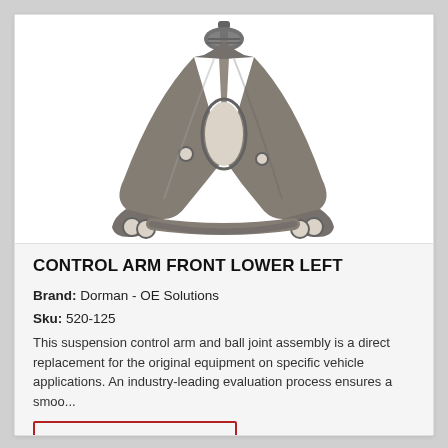[Figure (photo): Photograph of a metal control arm front lower left suspension part with ball joint assembly, triangular shape with mounting brackets at bottom and ball joint stud at top.]
CONTROL ARM FRONT LOWER LEFT
Brand: Dorman - OE Solutions
Sku: 520-125
This suspension control arm and ball joint assembly is a direct replacement for the original equipment on specific vehicle applications. An industry-leading evaluation process ensures a smoo...